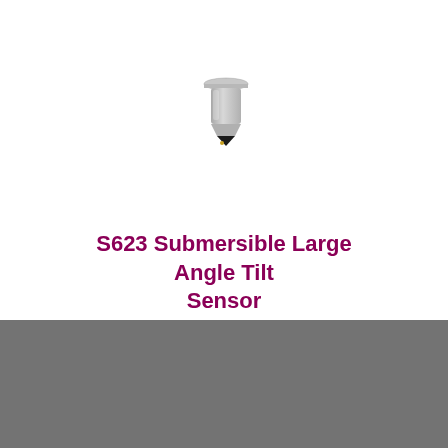[Figure (photo): A small cylindrical metallic submersible tilt sensor with a flat flange top and a pointed black tip at the bottom, shown on a white background.]
S623 Submersible Large Angle Tilt Sensor